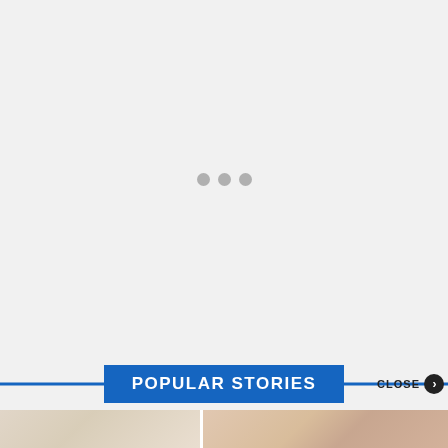[Figure (other): Loading indicator with three gray dots centered on a light gray background]
POPULAR STORIES
CLOSE
[Figure (photo): Partial thumbnail images at the bottom of the page, partially visible]